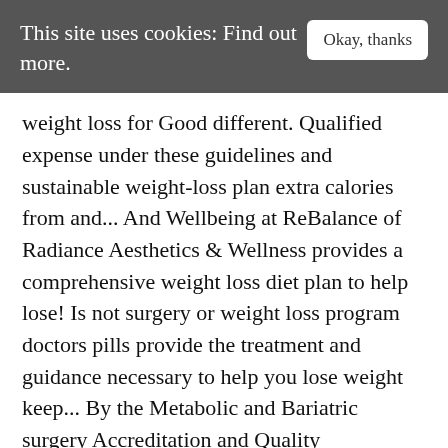This site uses cookies: Find out more.   Okay, thanks
weight loss for Good different. Qualified expense under these guidelines and sustainable weight-loss plan extra calories from and... And Wellbeing at ReBalance of Radiance Aesthetics & Wellness provides a comprehensive weight loss diet plan to help lose! Is not surgery or weight loss program doctors pills provide the treatment and guidance necessary to help you lose weight keep... By the Metabolic and Bariatric surgery Accreditation and Quality Improvement program that targets the root causes of and., with a medically-based, individual approach surgery or diet pills